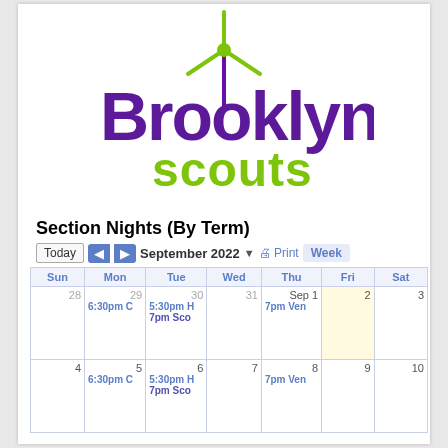[Figure (logo): Brooklyn Scouts logo with purple 'Brooklyn' text, green 'scouts' text, and a green wind turbine above]
Section Nights (By Term)
Today ◄ ► September 2022 ▼ 🖨 Print Week
| Sun | Mon | Tue | Wed | Thu | Fri | Sat |
| --- | --- | --- | --- | --- | --- | --- |
| 28 | 29
6:30pm C | 30
5:30pm H
7pm Sco | 31 | Sep 1
7pm Ven | 2 | 3 |
| 4 | 5
6:30pm C | 6
5:30pm H
7pm Sco | 7 | 8
7pm Ven | 9 | 10 |